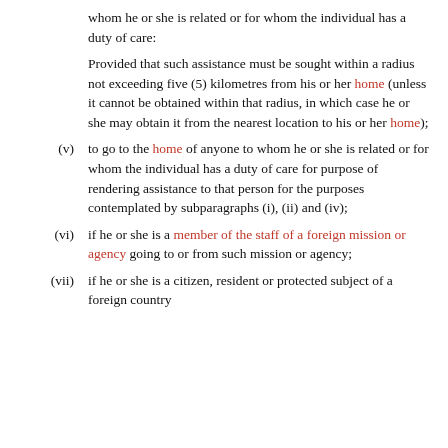whom he or she is related or for whom the individual has a duty of care:
Provided that such assistance must be sought within a radius not exceeding five (5) kilometres from his or her home (unless it cannot be obtained within that radius, in which case he or she may obtain it from the nearest location to his or her home);
(v) to go to the home of anyone to whom he or she is related or for whom the individual has a duty of care for purpose of rendering assistance to that person for the purposes contemplated by subparagraphs (i), (ii) and (iv);
(vi) if he or she is a member of the staff of a foreign mission or agency going to or from such mission or agency;
(vii) if he or she is a citizen, resident or protected subject of a foreign country